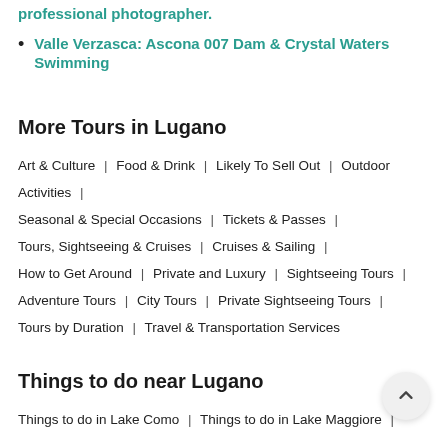Valle Verzasca: Ascona 007 Dam & Crystal Waters Swimming
More Tours in Lugano
Art & Culture | Food & Drink | Likely To Sell Out | Outdoor Activities | Seasonal & Special Occasions | Tickets & Passes | Tours, Sightseeing & Cruises | Cruises & Sailing | How to Get Around | Private and Luxury | Sightseeing Tours | Adventure Tours | City Tours | Private Sightseeing Tours | Tours by Duration | Travel & Transportation Services
Things to do near Lugano
Things to do in Lake Como | Things to do in Lake Maggiore |